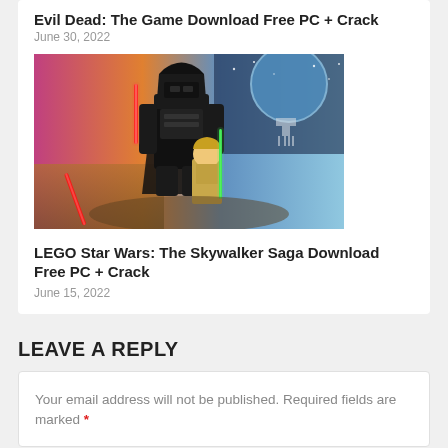Evil Dead: The Game Download Free PC + Crack
June 30, 2022
[Figure (photo): LEGO Star Wars game cover showing Darth Vader and Luke Skywalker LEGO figures with lightsabers against a Star Wars battle backdrop]
LEGO Star Wars: The Skywalker Saga Download Free PC + Crack
June 15, 2022
LEAVE A REPLY
Your email address will not be published. Required fields are marked *